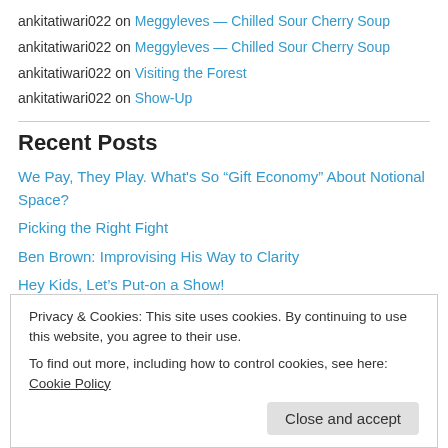ankitatiwari022 on Meggyleves — Chilled Sour Cherry Soup
ankitatiwari022 on Meggyleves — Chilled Sour Cherry Soup
ankitatiwari022 on Visiting the Forest
ankitatiwari022 on Show-Up
Recent Posts
We Pay, They Play. What's So “Gift Economy” About Notional Space?
Picking the Right Fight
Ben Brown: Improvising His Way to Clarity
Hey Kids, Let’s Put-on a Show!
Eight Ounces Half a Pound: a Sculptural Exploration of Vancouver’s
Privacy & Cookies: This site uses cookies. By continuing to use this website, you agree to their use. To find out more, including how to control cookies, see here: Cookie Policy